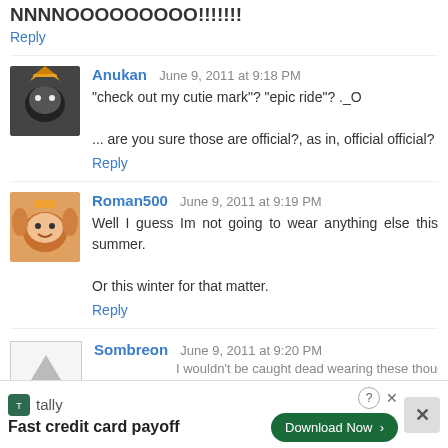NNNNOOOOOOOOO!!!!!!!
Reply
Anukan  June 9, 2011 at 9:18 PM
"check out my cutie mark"? "epic ride"? ._O

... are you sure those are official?, as in, official official?
Reply
Roman500  June 9, 2011 at 9:19 PM
Well I guess Im not going to wear anything else this summer.

Or this winter for that matter.
Reply
Sombreon  June 9, 2011 at 9:20 PM
I wouldn't be caught dead wearing these though.
[Figure (infographic): Tally app advertisement banner with green download button, help and close icons, text 'Fast credit card payoff']